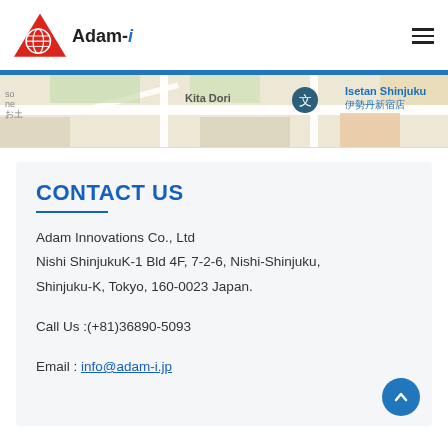Adam-i
[Figure (map): Google Maps screenshot showing Shinjuku area with Kita Dori street, a location pin, and Isetan Shinjuku store label with Japanese text 伊勢丹新宿店]
CONTACT US
Adam Innovations Co., Ltd
Nishi ShinjukuK-1 Bld 4F, 7-2-6, Nishi-Shinjuku, Shinjuku-K, Tokyo, 160-0023 Japan.
Call Us :(+81)36890-5093
Email : info@adam-i.jp